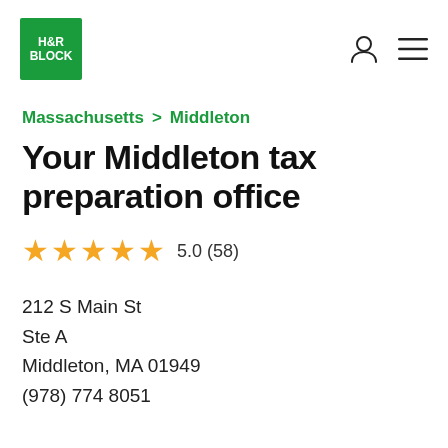[Figure (logo): H&R Block green square logo with white text]
Massachusetts > Middleton
Your Middleton tax preparation office
5.0 (58)
212 S Main St
Ste A
Middleton, MA 01949
(978) 774 8051